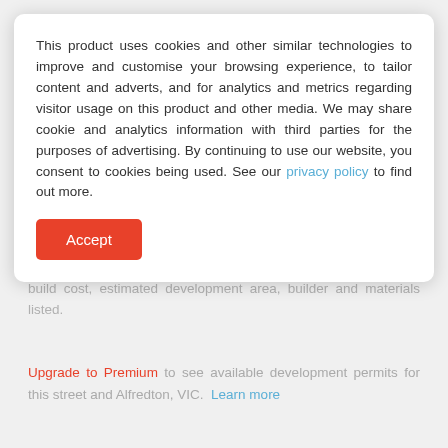This product uses cookies and other similar technologies to improve and customise your browsing experience, to tailor content and adverts, and for analytics and metrics regarding visitor usage on this product and other media. We may share cookie and analytics information with third parties for the purposes of advertising. By continuing to use our website, you consent to cookies being used. See our privacy policy to find out more.
Accept
development, date of submission, the date of approval, estimated build cost, estimated development area, builder and materials listed.
Upgrade to Premium to see available development permits for this street and Alfredton, VIC.  Learn more